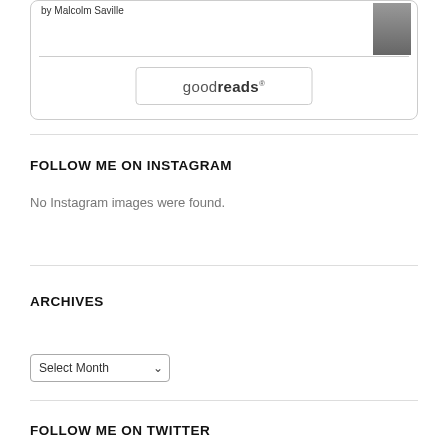[Figure (screenshot): Goodreads widget showing a book by Malcolm Saville with a book thumbnail and a Goodreads button]
FOLLOW ME ON INSTAGRAM
No Instagram images were found.
ARCHIVES
Select Month
FOLLOW ME ON TWITTER